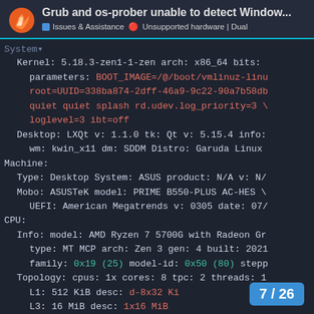Grub and os-prober unable to detect Window...
Issues & Assistance | Unsupported hardware | Dual
System:
  Kernel: 5.18.3-zen1-1-zen arch: x86_64 bits:
    parameters: BOOT_IMAGE=/@/boot/vmlinuz-linu
    root=UUID=338ba874-2dff-46a9-9c22-90a7b58db
    quiet quiet splash rd.udev.log_priority=3 \
    loglevel=3 ibt=off
  Desktop: LXQt v: 1.1.0 tk: Qt v: 5.15.4 info:
    wm: kwin_x11 dm: SDDM Distro: Garuda Linux
Machine:
  Type: Desktop System: ASUS product: N/A v: N/
  Mobo: ASUSTeK model: PRIME B550-PLUS AC-HES \
    UEFI: American Megatrends v: 0305 date: 07/
CPU:
  Info: model: AMD Ryzen 7 5700G with Radeon Gr
    type: MT MCP arch: Zen 3 gen: 4 built: 2021
    family: 0x19 (25) model-id: 0x50 (80) stepp
  Topology: cpus: 1x cores: 8 tpc: 2 threads: 1
    L1: 512 KiB desc: d-8x32 Ki
    L3: 16 MiB desc: 1x16 MiB
7 / 26